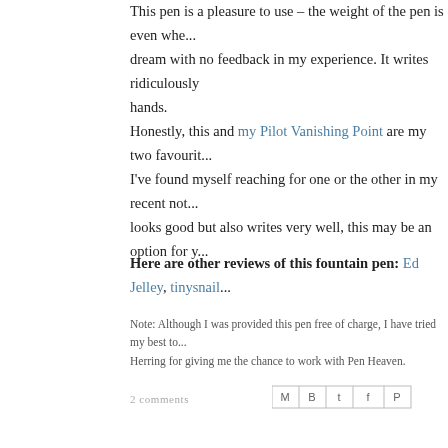This pen is a pleasure to use – the weight of the pen is even whe... dream with no feedback in my experience. It writes ridiculously... hands.
Honestly, this and my Pilot Vanishing Point are my two favourit... I've found myself reaching for one or the other in my recent not... looks good but also writes very well, this may be an option for y...
Here are other reviews of this fountain pen: Ed Jelley, tinysnail...
Note: Although I was provided this pen free of charge, I have tried my best to... Herring for giving me the chance to work with Pen Heaven.
2 comments
[Figure (screenshot): Social share buttons: Email (M), Blogger (B), Twitter (t), Facebook (f), Pinterest (P)]
11 OCT 2015
MY WEEK #1
This post was tagged in m...